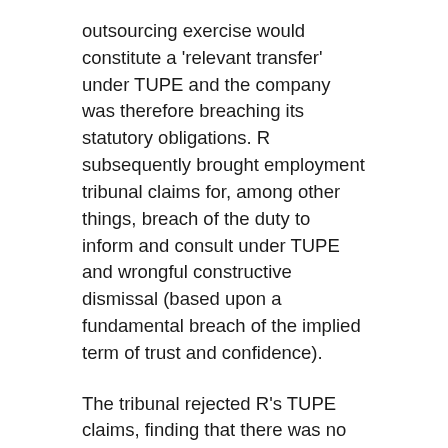outsourcing exercise would constitute a 'relevant transfer' under TUPE and the company was therefore breaching its statutory obligations. R subsequently brought employment tribunal claims for, among other things, breach of the duty to inform and consult under TUPE and wrongful constructive dismissal (based upon a fundamental breach of the implied term of trust and confidence).
The tribunal rejected R's TUPE claims, finding that there was no relevant transfer. As for the contract-based claim, the tribunal found that the company's failure to forewarn R of any performance concerns and the potential for dismissal did not amount to a breach of the implied term of trust and confidence. Although R genuinely, and with some cause, believed that he was unfairly treated, BG Ltd had no obligation to provide the information to him. The tribunal considered that R's complaint was really about the manner of his dismissal. This meant that it